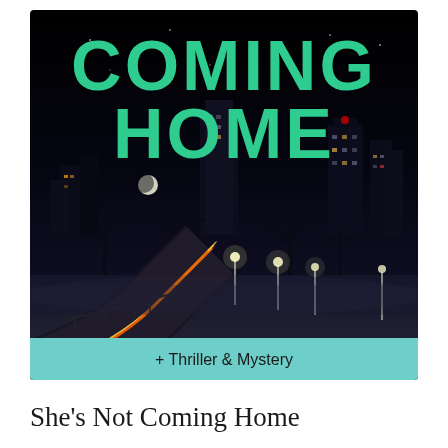[Figure (illustration): Book cover for 'She's Not Coming Home' (partial title visible as 'COMING HOME') showing a night city skyline with light trails from car headlights on a curving highway, genre badge showing '+ Thriller & Mystery' at the bottom]
She's Not Coming Home